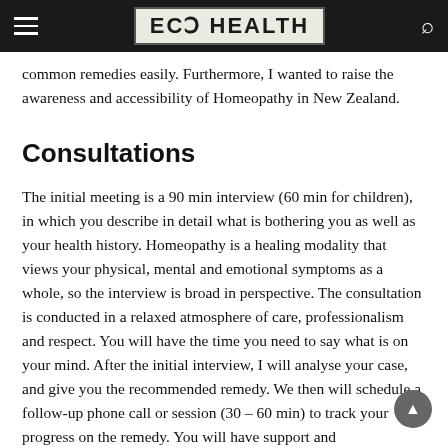ECO HEALTH
common remedies easily. Furthermore, I wanted to raise the awareness and accessibility of Homeopathy in New Zealand.
Consultations
The initial meeting is a 90 min interview (60 min for children), in which you describe in detail what is bothering you as well as your health history. Homeopathy is a healing modality that views your physical, mental and emotional symptoms as a whole, so the interview is broad in perspective. The consultation is conducted in a relaxed atmosphere of care, professionalism and respect. You will have the time you need to say what is on your mind. After the initial interview, I will analyse your case, and give you the recommended remedy. We then will schedule a follow-up phone call or session (30 – 60 min) to track your progress on the remedy. You will have support and communication from me during this process. Our mutual goal is to find relief for you.